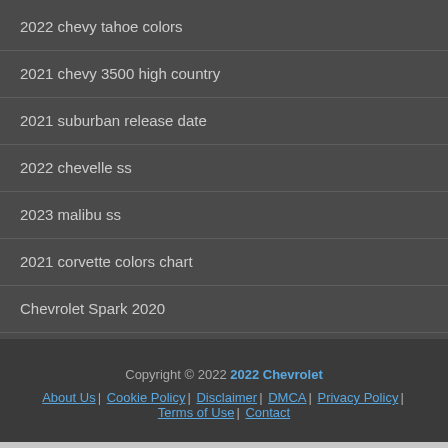2022 chevy tahoe colors
2021 chevy 3500 high country
2021 suburban release date
2022 chevelle ss
2023 malibu ss
2021 corvette colors chart
Chevrolet Spark 2020
Copyright © 2022 2022 Chevrolet | About Us | Cookie Policy | Disclaimer | DMCA | Privacy Policy | Terms of Use | Contact